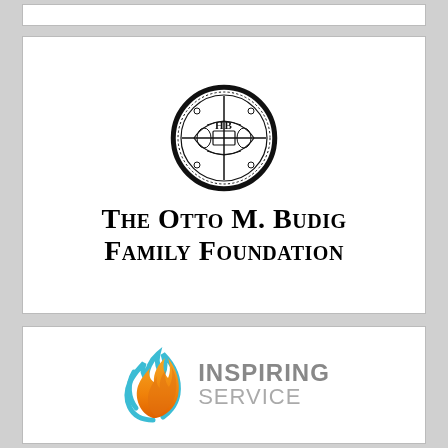[Figure (logo): The Otto M. Budig Family Foundation logo with circular emblem and serif text]
[Figure (logo): Inspiring Service logo with flame icon and gray text]